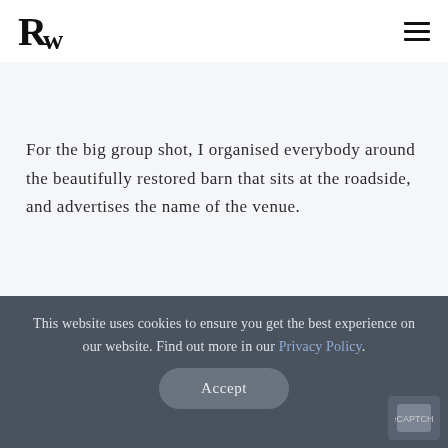RW [logo] / hamburger menu
For the big group shot, I organised everybody around the beautifully restored barn that sits at the roadside, and advertises the name of the venue.
This website uses cookies to ensure you get the best experience on our website. Find out more in our Privacy Policy. [Accept button]